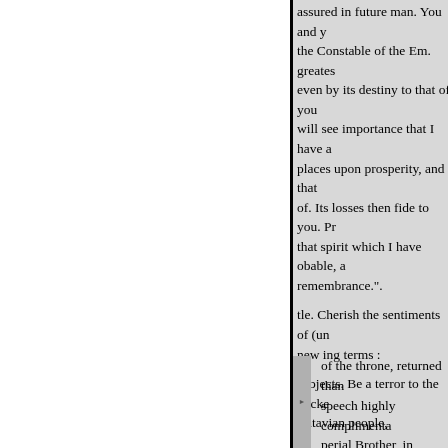assured in future man. You and y the Constable of the Em. greates even by its destiny to that of you will see importance that I have a places upon prosperity, and that of. Its losses then fide to you. Pr that spirit which I have obable, a remembrance.". tle. Cherish the sentiments of (un new ing terms : subjects. Be a terror to the wicke Batavian people, character of the greatest Kings."
of the throne, returned than speech highly complimenta perial Brother, in which lie ded to accept the Crown of and promised to answer the